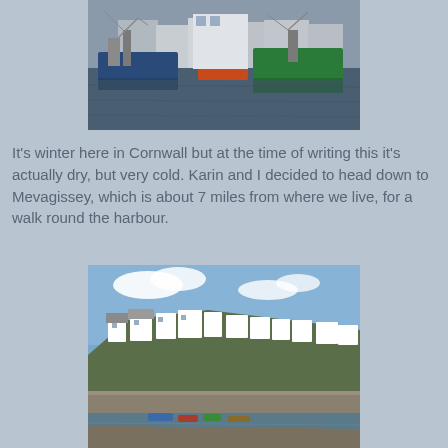[Figure (photo): Fishing boats moored in a harbour, with blue and green vessels prominent, buildings visible in the background on a grey overcast day.]
It's winter here in Cornwall but at the time of writing this it's actually dry, but very cold. Karin and I decided to head down to Mevagissey, which is about 7 miles from where we live, for a walk round the harbour.
[Figure (photo): Coastal village of Mevagissey viewed from the harbour wall, showing white-painted hillside houses and a small harbour with boats, under a blue sky with clouds.]